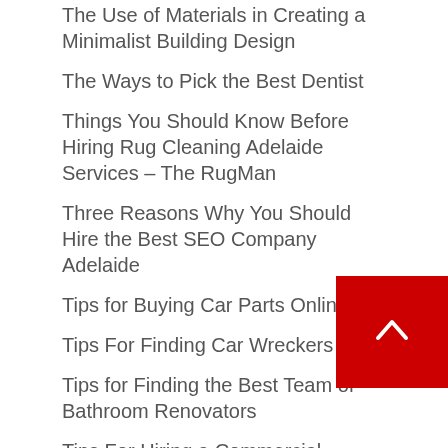The Use of Materials in Creating a Minimalist Building Design
The Ways to Pick the Best Dentist
Things You Should Know Before Hiring Rug Cleaning Adelaide Services – The RugMan
Three Reasons Why You Should Hire the Best SEO Company Adelaide
Tips for Buying Car Parts Online
Tips For Finding Car Wreckers
Tips for Finding the Best Team of Bathroom Renovators
Tips For Hiring a Commercial Builder Adelaide
Tips On How To Be A Speech Pathologist
Tips on How to Choose the Right Fencing Contractor Adelaide
Tips On How To Unblock Blocked Drains
Tips on Purchasing Power Tools